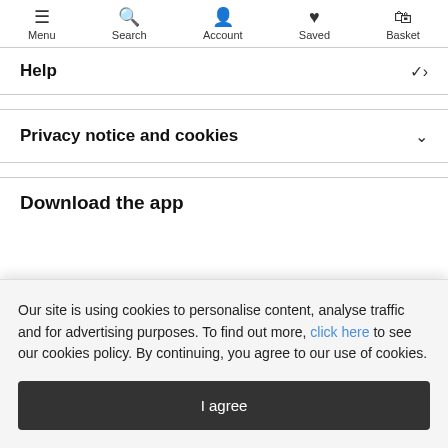Menu | Search | Account | Saved | Basket
Help
Privacy notice and cookies
Download the app
Our site is using cookies to personalise content, analyse traffic and for advertising purposes. To find out more, click here to see our cookies policy. By continuing, you agree to our use of cookies.
I agree